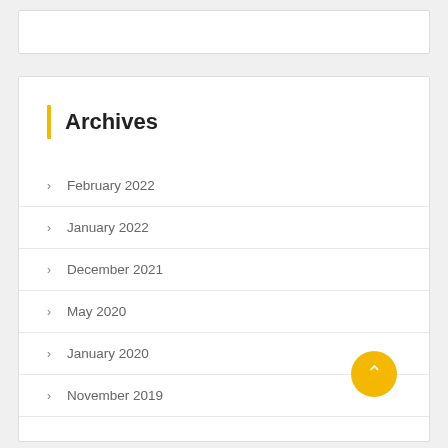Archives
February 2022
January 2022
December 2021
May 2020
January 2020
November 2019